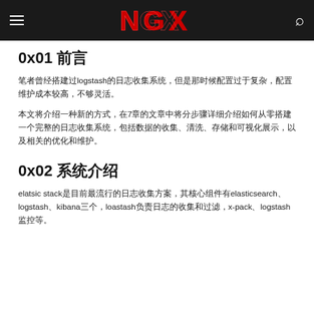NGX
0x01 前言
笔者曾经搭建过logstash的日志收集系统，但是那时候配置过于复杂，配置维护成本较高，不够灵活。
本文将介绍一种新的方式，在7章的文章中将分步骤详细介绍如何从零搭建一个完整的日志收集系统，包括数据的收集、清洗、存储和可视化展示，以及相关的优化和维护。
0x02 系统介绍
elatsic stack是目前最流行的日志收集方案，其核心组件有elasticsearch、logstash、kibana三个，loastash负责日志的收集和过滤，x-pack、logstash监控等。